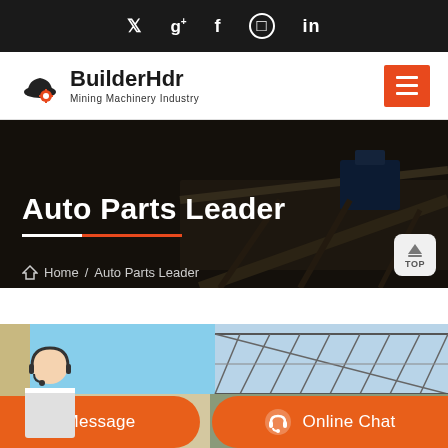Social icons: Twitter, Google+, Facebook, Instagram, LinkedIn
[Figure (logo): BuilderHdr Mining Machinery Industry logo with hard hat and gear icon]
Auto Parts Leader
Home / Auto Parts Leader
[Figure (photo): Industrial building structure with steel roof trusses and blue sky visible]
Message
Online Chat